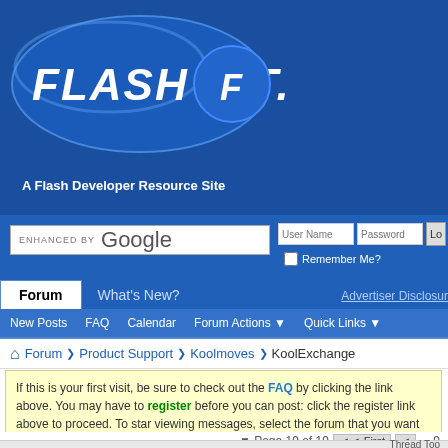[Figure (logo): Flash Kit logo with blue oval background and 'FLASH KIT.' text in white italic bold, with a stylized F icon]
A Flash Developer Resource Site
ENHANCED BY Google
User Name  Password  Lo
Remember Me?
Forum   What's New?   Advertiser Disclosure
New Posts  FAQ  Calendar  Forum Actions  Quick Links
Forum ❯ Product Support ❯ Koolmoves ❯ KoolExchange
If this is your first visit, be sure to check out the FAQ by clicking the link above. You may have to register before you can post: click the register link above to proceed. To start viewing messages, select the forum that you want to visit from the selection below.
Page 19 of 19  First  ...  9  18  Results
Thread: KoolExchange
Thread Too